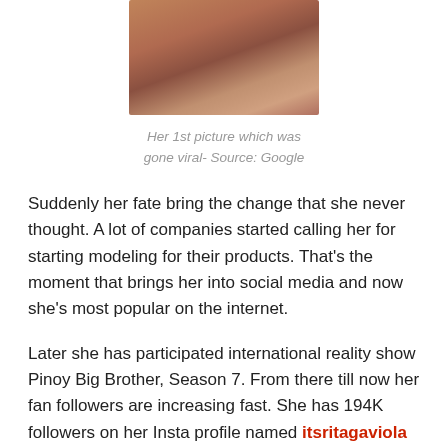[Figure (photo): Partial photo of a woman in a pink/red top, cropped at shoulders, sitting position]
Her 1st picture which was gone viral- Source: Google
Suddenly her fate bring the change that she never thought. A lot of companies started calling her for starting modeling for their products. That's the moment that brings her into social media and now she's most popular on the internet.
Later she has participated international reality show Pinoy Big Brother, Season 7. From there till now her fan followers are increasing fast. She has 194K followers on her Insta profile named itsritagaviola